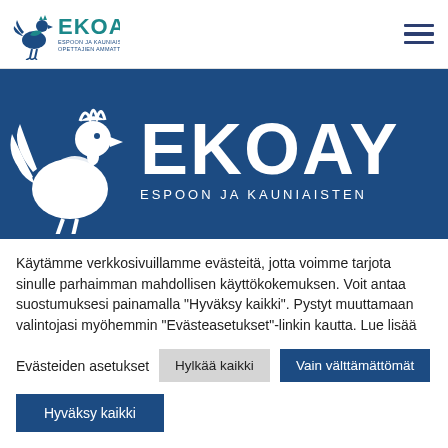[Figure (logo): EKOAY rooster logo small with text - Espoon ja Kauniaisten Opettajien Ammattiyhdistys]
[Figure (logo): EKOAY large white rooster logo on blue background with text EKOAY ESPOON JA KAUNIAISTEN]
Käytämme verkkosivuillamme evästeitä, jotta voimme tarjota sinulle parhaimman mahdollisen käyttökokemuksen. Voit antaa suostumuksesi painamalla "Hyväksy kaikki". Pystyt muuttamaan valintojasi myöhemmin "Evästeasetukset"-linkin kautta. Lue lisää
Evästeiden asetukset
Hylkää kaikki
Vain välttämättömät
Hyväksy kaikki